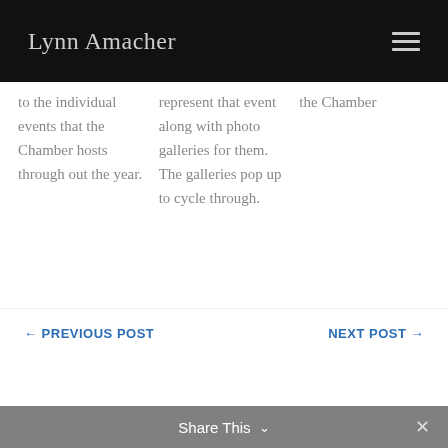Lynn Amacher
to the individual events that the Chamber hosts through out the year.
represent that event along with photo galleries for them. The galleries pop up to cycle through.
the Chamber
← PREVIOUS POST
NEXT POST →
Share This ∨  ✕